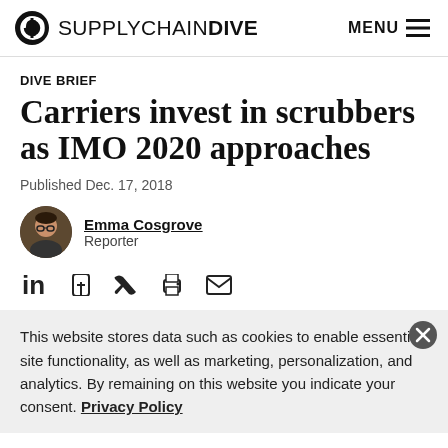SUPPLYCHAINDIVE  MENU
DIVE BRIEF
Carriers invest in scrubbers as IMO 2020 approaches
Published Dec. 17, 2018
Emma Cosgrove
Reporter
This website stores data such as cookies to enable essential site functionality, as well as marketing, personalization, and analytics. By remaining on this website you indicate your consent. Privacy Policy